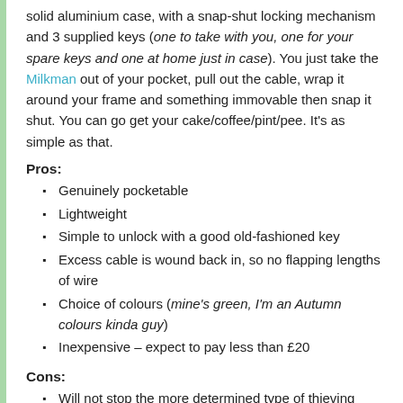solid aluminium case, with a snap-shut locking mechanism and 3 supplied keys (one to take with you, one for your spare keys and one at home just in case). You just take the Milkman out of your pocket, pull out the cable, wrap it around your frame and something immovable then snap it shut. You can go get your cake/coffee/pint/pee. It's as simple as that.
Pros:
Genuinely pocketable
Lightweight
Simple to unlock with a good old-fashioned key
Excess cable is wound back in, so no flapping lengths of wire
Choice of colours (mine's green, I'm an Autumn colours kinda guy)
Inexpensive – expect to pay less than £20
Cons:
Will not stop the more determined type of thieving scumbag. It's a lightweight lock
Cable recoil spring may cause knuckle bruising